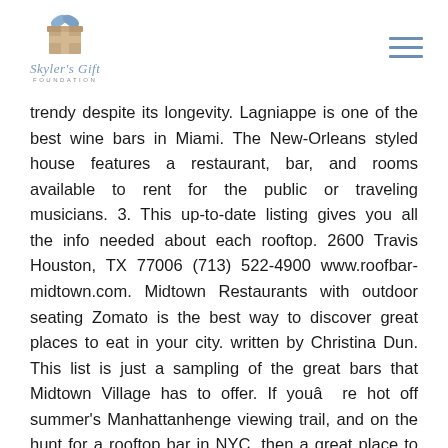Skyler's Gift Foundation
trendy despite its longevity. Lagniappe is one of the best wine bars in Miami. The New-Orleans styled house features a restaurant, bar, and rooms available to rent for the public or traveling musicians. 3. This up-to-date listing gives you all the info needed about each rooftop. 2600 Travis Houston, TX 77006 (713) 522-4900 www.roofbar-midtown.com. Midtown Restaurants with outdoor seating Zomato is the best way to discover great places to eat in your city. written by Christina Dun. This list is just a sampling of the great bars that Midtown Village has to offer. If youâre hot off summer's Manhattanhenge viewing trail, and on the hunt for a rooftop bar in NYC, then a great place to start is midtown Manhattan. Curated dishes and experiences. Make restaurant reservations